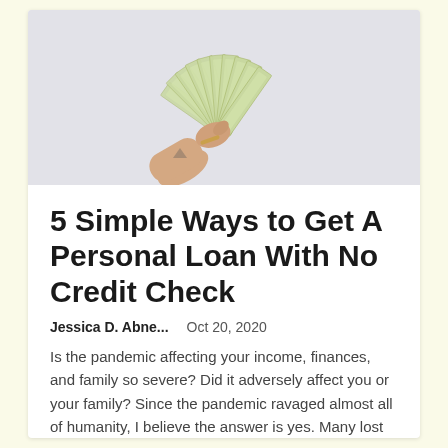[Figure (photo): A tattooed hand holding a fan of US dollar bills spread out like playing cards, against a light grey background.]
5 Simple Ways to Get A Personal Loan With No Credit Check
Jessica D. Abne...    Oct 20, 2020
Is the pandemic affecting your income, finances, and family so severe? Did it adversely affect you or your family? Since the pandemic ravaged almost all of humanity, I believe the answer is yes. Many lost their jobs and many were infected,...